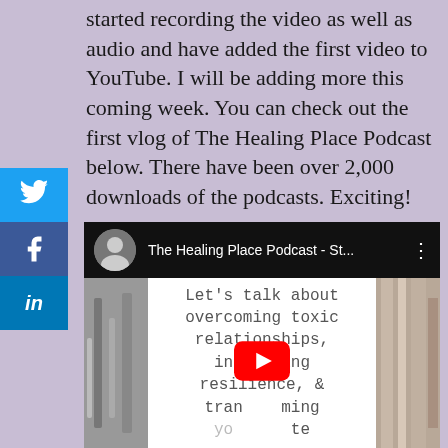started recording the video as well as audio and have added the first video to YouTube. I will be adding more this coming week. You can check out the first vlog of The Healing Place Podcast below. There have been over 2,000 downloads of the podcasts. Exciting!
[Figure (screenshot): YouTube video embed showing 'The Healing Place Podcast - St...' with a thumbnail of text reading 'Let's talk about overcoming toxic relationships, increasing resilience, & transforming your life' with a YouTube play button overlay. Social share buttons for Twitter, Facebook, and LinkedIn are shown on the left side.]